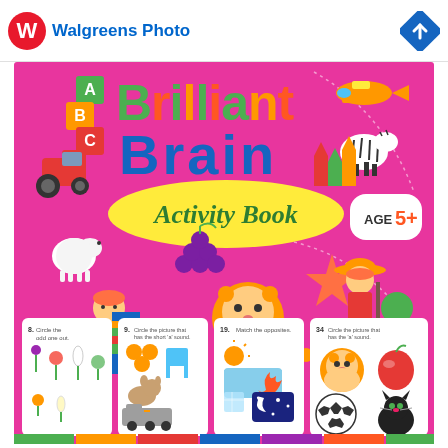Walgreens Photo
[Figure (illustration): Cover of 'Brilliant Brain Activity Book' for Age 5+, pink background with colorful cartoon illustrations including ABC blocks, toy tractor, airplane, zebra, lion, lamb, grapes, children, starfish, and sample activity page thumbnails at the bottom showing exercises numbered 8, 9, 19, and 34.]
Brilliant Brain Activity Book
AGE 5+